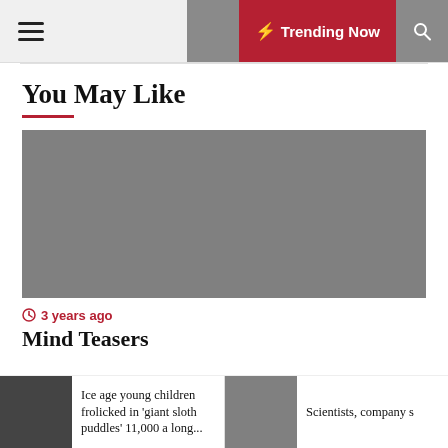☰  🌙  ⚡ Trending Now  🔍
You May Like
[Figure (photo): Gray placeholder image for article thumbnail]
⏱ 3 years ago
Mind Teasers
[Figure (photo): Small photo thumbnail of what appears to be a dark interior, used for article about ice age children]
Ice age young children frolicked in 'giant sloth puddles' 11,000 a long...
[Figure (photo): Gray placeholder thumbnail for second bottom article]
Scientists, company s